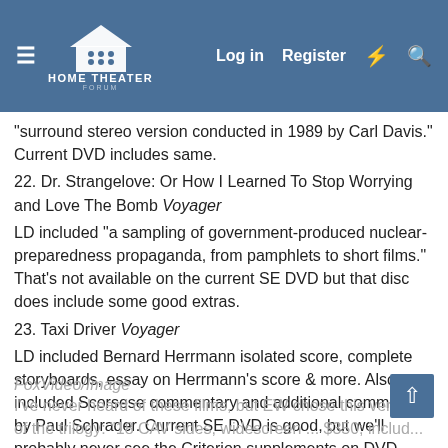Home Theater Forum — Log in | Register
"surround stereo version conducted in 1989 by Carl Davis." Current DVD includes same.
22. Dr. Strangelove: Or How I Learned To Stop Worrying and Love The Bomb Voyager
LD included "a sampling of government-produced nuclear-preparedness propaganda, from pamphlets to short films." That's not available on the current SE DVD but that disc does include some good extras.
23. Taxi Driver Voyager
LD included Bernard Herrmann isolated score, complete storyboards, essay on Herrmann's score & more. Also included Scorsese commentary and additional comments by Paul Schrader. Current SE DVD is good, but we'll probably never see the Criterion supplements on DVD.
24. Star Wars Trilogy: The Definitive Collection
FoxVideo/Image
I've never heard of these films, but EW chose this version of the trilogy: "18 CAV sides, widescreen ... $350; includ...